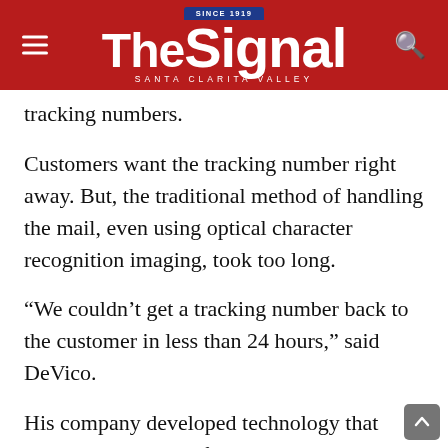The Signal — Santa Clarita Valley
tracking numbers.
Customers want the tracking number right away. But, the traditional method of handling the mail, even using optical character recognition imaging, took too long.
“We couldn’t get a tracking number back to the customer in less than 24 hours,” said DeVico.
His company developed technology that works with many software packages that shippers use that allows them to assign a USPS tracking number when